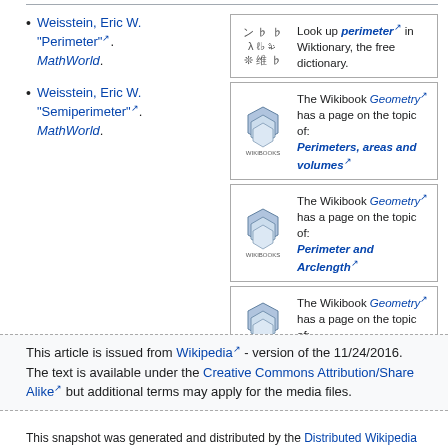Weisstein, Eric W. "Perimeter". MathWorld.
Weisstein, Eric W. "Semiperimeter". MathWorld.
[Figure (other): Wiktionary sister project box: Look up perimeter in Wiktionary, the free dictionary.]
[Figure (other): Wikibooks sister project box: The Wikibook Geometry has a page on the topic of: Perimeters, areas and volumes]
[Figure (other): Wikibooks sister project box: The Wikibook Geometry has a page on the topic of: Perimeter and Arclength]
[Figure (other): Wikibooks sister project box: The Wikibook Geometry has a page on the topic of: Arcs]
This article is issued from Wikipedia - version of the 11/24/2016. The text is available under the Creative Commons Attribution/Share Alike but additional terms may apply for the media files.
This snapshot was generated and distributed by the Distributed Wikipedia Mir…